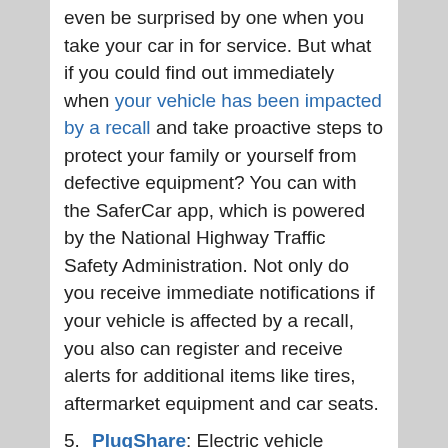even be surprised by one when you take your car in for service. But what if you could find out immediately when your vehicle has been impacted by a recall and take proactive steps to protect your family or yourself from defective equipment? You can with the SaferCar app, which is powered by the National Highway Traffic Safety Administration. Not only do you receive immediate notifications if your vehicle is affected by a recall, you also can register and receive alerts for additional items like tires, aftermarket equipment and car seats.
5. PlugShare: Electric vehicle owners rejoice! With the PlugShare app, you won't have to